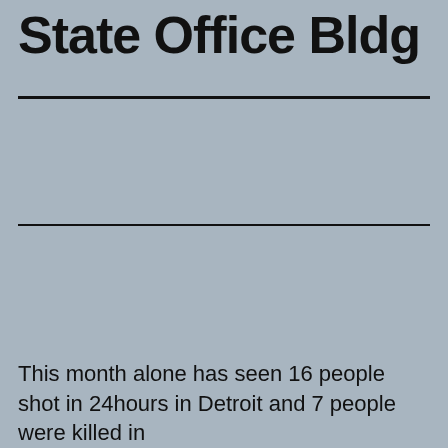State Office Bldg
This month alone has seen 16 people shot in 24hours in Detroit and 7 people were killed in